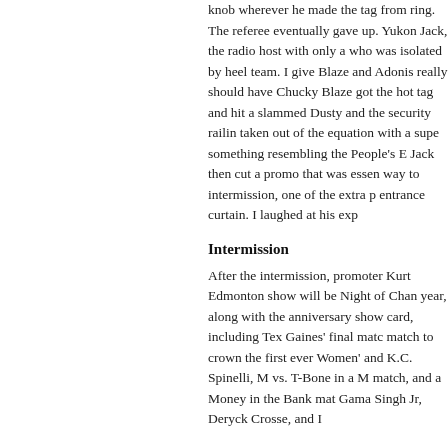knob wherever he made the tag from ring. The referee eventually gave up. Yukon Jack, the radio host with only a who was isolated by heel team. I give Blaze and Adonis really should have Chucky Blaze got the hot tag and hit a slammed Dusty and the security railing taken out of the equation with a super something resembling the People's E Jack then cut a promo that was essen way to intermission, one of the extra p entrance curtain. I laughed at his exp
Intermission
After the intermission, promoter Kurt Edmonton show will be Night of Chan year, along with the anniversary show card, including Tex Gaines' final matc match to crown the first ever Women' and K.C. Spinelli, M vs. T-Bone in a M match, and a Money in the Bank mat Gama Singh Jr, Deryck Crosse, and I
PWA Cruiserweight Championship Andrew Hawks vs. Cam-ikaze ©